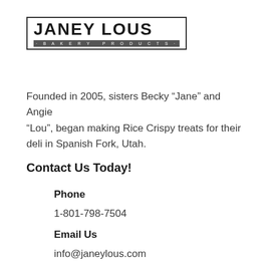[Figure (logo): Janey Lous Bakery Products logo — bold black text 'JANEY LOUS' inside a bordered rectangle with 'BAKERY PRODUCTS' subtitle on a dark bar beneath]
Founded in 2005, sisters Becky “Jane” and Angie “Lou”, began making Rice Crispy treats for their deli in Spanish Fork, Utah.
Contact Us Today!
Phone
1-801-798-7504
Email Us
info@janeylous.com